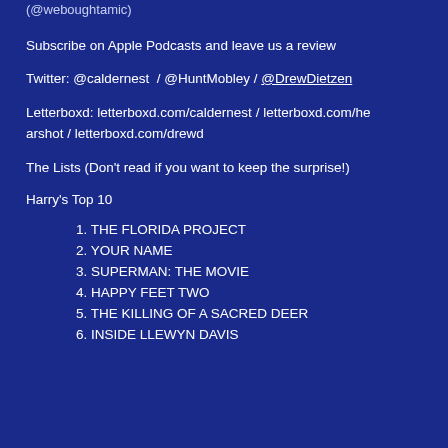(@weboughtamic)
Subscribe on Apple Podcasts and leave us a review
Twitter: @caldernest  / @HuntMobley / @DrewDietzen
Letterboxd: letterboxd.com/caldernest / letterboxd.com/hearshot / letterboxd.com/drewd
The Lists (Don't read if you want to keep the surprise!)
Harry's Top 10
1. THE FLORIDA PROJECT
2. YOUR NAME
3. SUPERMAN: THE MOVIE
4. HAPPY FEET TWO
5. THE KILLING OF A SACRED DEER
6. INSIDE LLEWYN DAVIS